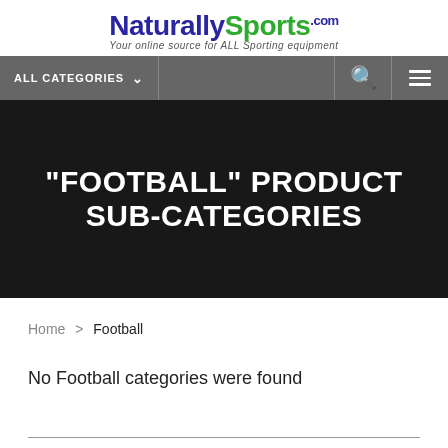NaturallySports.com — Your online source for ALL Sporting equipment
ALL CATEGORIES
"FOOTBALL" PRODUCT SUB-CATEGORIES
Home > Football
No Football categories were found